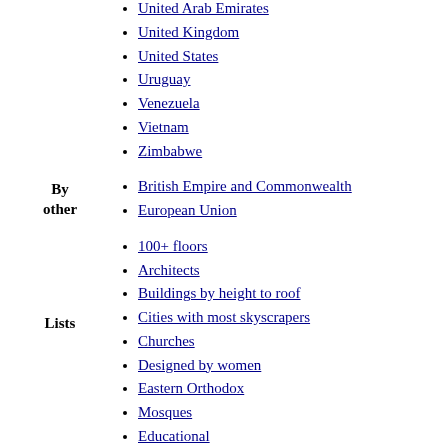United Arab Emirates
United Kingdom
United States
Uruguay
Venezuela
Vietnam
Zimbabwe
By other
British Empire and Commonwealth
European Union
Lists
100+ floors
Architects
Buildings by height to roof
Cities with most skyscrapers
Churches
Designed by women
Eastern Orthodox
Mosques
Educational
Future
Hospitals
Hotels
Most expensive
Residential
Skyscrapers by floor area